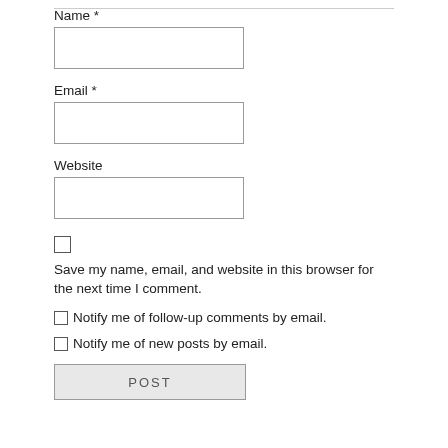Name *
[Figure (other): Text input field for Name]
Email *
[Figure (other): Text input field for Email]
Website
[Figure (other): Text input field for Website]
Save my name, email, and website in this browser for the next time I comment.
Notify me of follow-up comments by email.
Notify me of new posts by email.
[Figure (other): POST comment submit button (partially visible)]